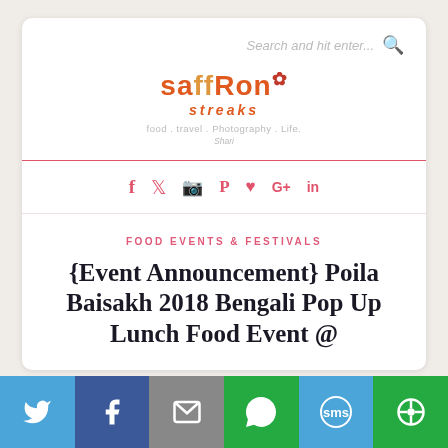[Figure (logo): Saffron Streaks blog logo with stylized text in orange and red, subtitle 'streaks', tagline 'food. travel. Photography. Life.' and search bar above]
[Figure (infographic): Social media icons row: f (Facebook), bird (Twitter), camera (Instagram), P (Pinterest), heart (Bloglovin), G+ (Google+), in (LinkedIn) — all in pink/red color]
FOOD EVENTS & FESTIVALS
{Event Announcement} Poila Baisakh 2018 Bengali Pop Up Lunch Food Event @
[Figure (infographic): Bottom share bar with Twitter (blue), Facebook (dark blue), Email (grey), WhatsApp (green), SMS (blue), More (green) icons in white on colored backgrounds]